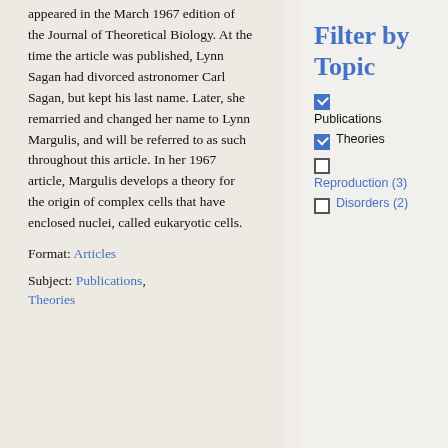appeared in the March 1967 edition of the Journal of Theoretical Biology. At the time the article was published, Lynn Sagan had divorced astronomer Carl Sagan, but kept his last name. Later, she remarried and changed her name to Lynn Margulis, and will be referred to as such throughout this article. In her 1967 article, Margulis develops a theory for the origin of complex cells that have enclosed nuclei, called eukaryotic cells.
Format: Articles
Subject: Publications, Theories
Filter by Topic
Publications (checked)
Theories (checked)
Reproduction (3) (unchecked)
Disorders (2) (unchecked)